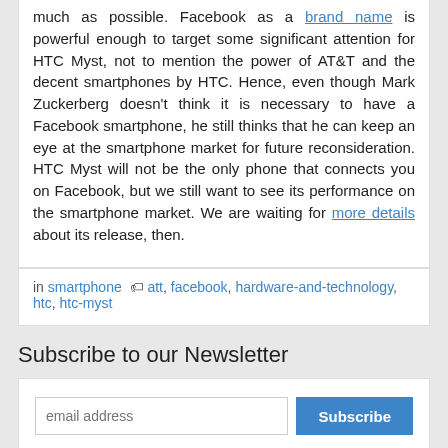much as possible. Facebook as a brand name is powerful enough to target some significant attention for HTC Myst, not to mention the power of AT&T and the decent smartphones by HTC. Hence, even though Mark Zuckerberg doesn't think it is necessary to have a Facebook smartphone, he still thinks that he can keep an eye at the smartphone market for future reconsideration. HTC Myst will not be the only phone that connects you on Facebook, but we still want to see its performance on the smartphone market. We are waiting for more details about its release, then.
in smartphone  att, facebook, hardware-and-technology, htc, htc-myst
Subscribe to our Newsletter